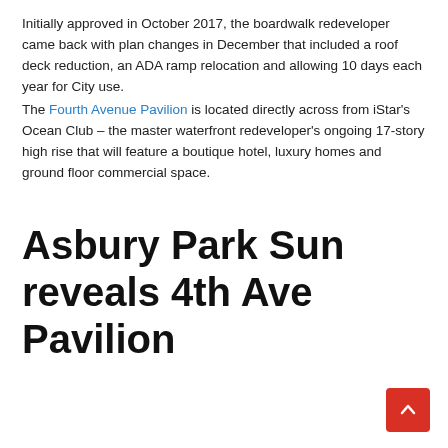Initially approved in October 2017, the boardwalk redeveloper came back with plan changes in December that included a roof deck reduction, an ADA ramp relocation and allowing 10 days each year for City use.
The Fourth Avenue Pavilion is located directly across from iStar's Ocean Club – the master waterfront redeveloper's ongoing 17-story high rise that will feature a boutique hotel, luxury homes and ground floor commercial space.
Asbury Park Sun reveals 4th Ave Pavilion